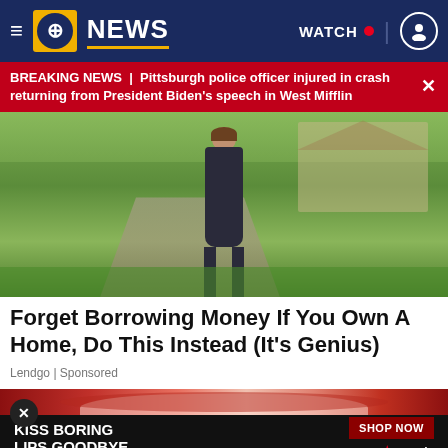NEWS — WATCH (navigation bar)
BREAKING NEWS | Pittsburgh police officer injured in crash returning from President Biden's speech in West Mifflin
[Figure (photo): Woman in black dress standing on a driveway in front of a house with green landscaping]
Forget Borrowing Money If You Own A Home, Do This Instead (It's Genius)
Lendgo | Sponsored
[Figure (photo): Advertisement showing close-up of lips with text KISS BORING LIPS GOODBYE and SHOP NOW button with Macy's logo]